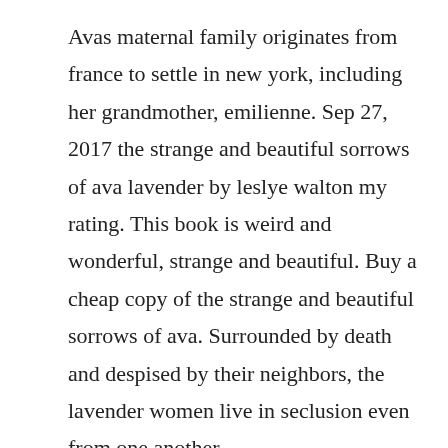Avas maternal family originates from france to settle in new york, including her grandmother, emilienne. Sep 27, 2017 the strange and beautiful sorrows of ava lavender by leslye walton my rating. This book is weird and wonderful, strange and beautiful. Buy a cheap copy of the strange and beautiful sorrows of ava. Surrounded by death and despised by their neighbors, the lavender women live in seclusion even from one another.
Mar 25, 2014 instead, the novel opens with